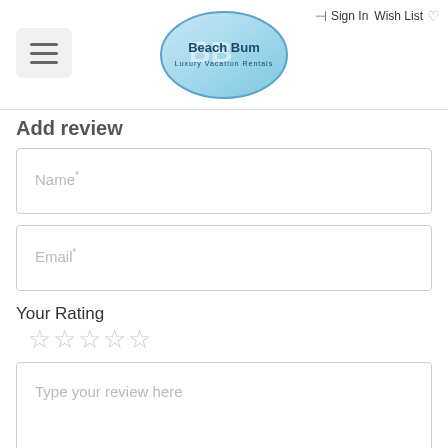Beach Bum Luxury Vacation Rentals — Sign In  Wish List
Add review
Name*
Email*
Your Rating
Type your review here
Show your name